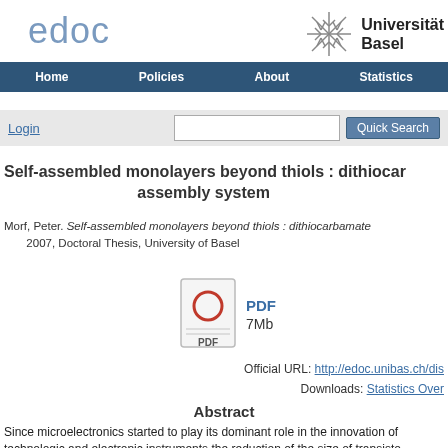edoc
[Figure (logo): Universität Basel snowflake logo with text 'Universität Basel']
Home  Policies  About  Statistics
Login
Self-assembled monolayers beyond thiols : dithiocarbamate assembly system
Morf, Peter. Self-assembled monolayers beyond thiols : dithiocarbamate 2007, Doctoral Thesis, University of Basel
[Figure (other): PDF file icon with red circle and PDF label]
PDF
7Mb
Official URL: http://edoc.unibas.ch/dis
Downloads: Statistics Over
Abstract
Since microelectronics started to play its dominant role in the innovation of technologic and electronic instruments the reduction of the size of transisto